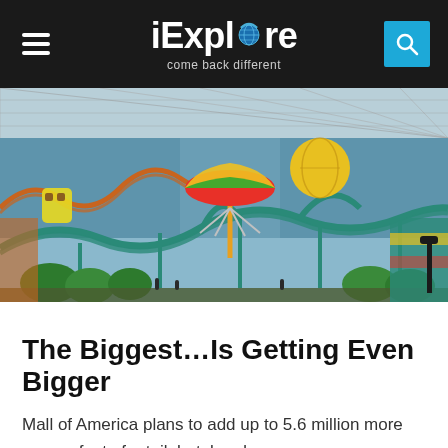iExplore — come back different
[Figure (photo): Interior of Mall of America showing a large indoor amusement park with roller coasters, colorful rides including a rainbow umbrella ride, teal roller coaster tracks, and a glass roof ceiling.]
The Biggest…Is Getting Even Bigger
Mall of America plans to add up to 5.6 million more square feet of retail, hotel and